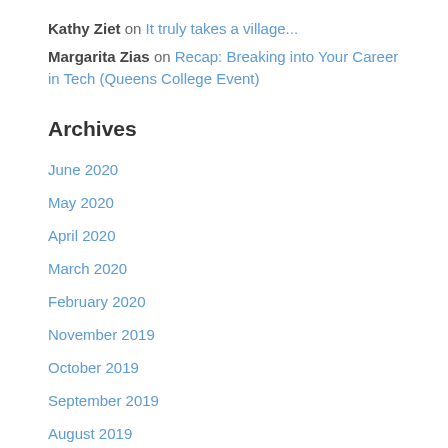Kathy Ziet on It truly takes a village...
Margarita Zias on Recap: Breaking into Your Career in Tech (Queens College Event)
Archives
June 2020
May 2020
April 2020
March 2020
February 2020
November 2019
October 2019
September 2019
August 2019
June 2019